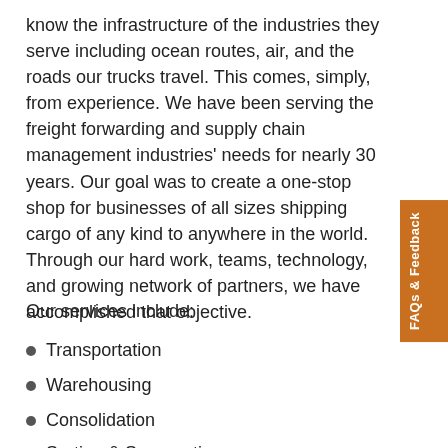know the infrastructure of the industries they serve including ocean routes, air, and the roads our trucks travel. This comes, simply, from experience. We have been serving the freight forwarding and supply chain management industries' needs for nearly 30 years. Our goal was to create a one-stop shop for businesses of all sizes shipping cargo of any kind to anywhere in the world. Through our hard work, teams, technology, and growing network of partners, we have accomplished that objective.
Our services include:
Transportation
Warehousing
Consolidation
Sorting & Segregating